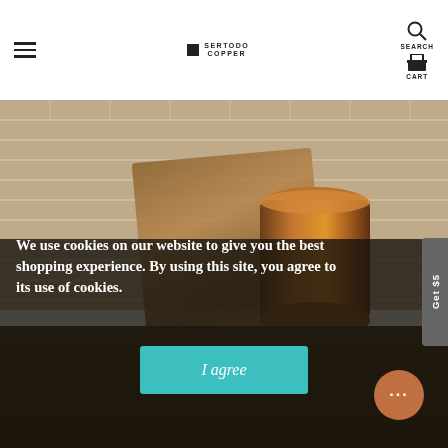Navigation header with hamburger menu, Sertodo Copper logo, Search and Cart icons
[Figure (photo): Kitchen scene with copper vessel/canister on counter, stone brick wall background, wooden cutting board]
We use cookies on our website to give you the best shopping experience. By using this site, you agree to its use of cookies.
I agree